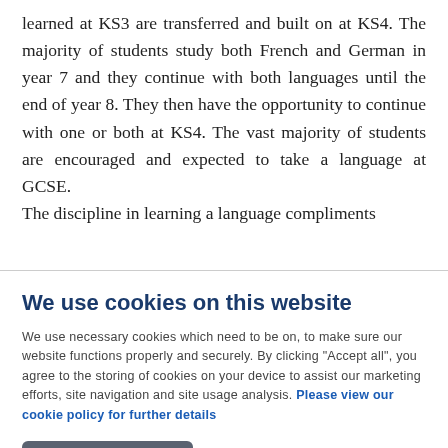learned at KS3 are transferred and built on at KS4. The majority of students study both French and German in year 7 and they continue with both languages until the end of year 8. They then have the opportunity to continue with one or both at KS4. The vast majority of students are encouraged and expected to take a language at GCSE.

The discipline in learning a language compliments
We use cookies on this website
We use necessary cookies which need to be on, to make sure our website functions properly and securely. By clicking "Accept all", you agree to the storing of cookies on your device to assist our marketing efforts, site navigation and site usage analysis. Please view our cookie policy for further details